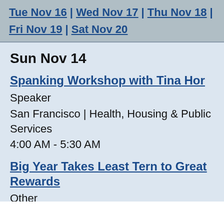Tue Nov 16 | Wed Nov 17 | Thu Nov 18 | Fri Nov 19 | Sat Nov 20
Sun Nov 14
Spanking Workshop with Tina Hor
Speaker
San Francisco | Health, Housing & Public Services
4:00 AM - 5:30 AM
Big Year Takes Least Tern to Great Rewards
Other